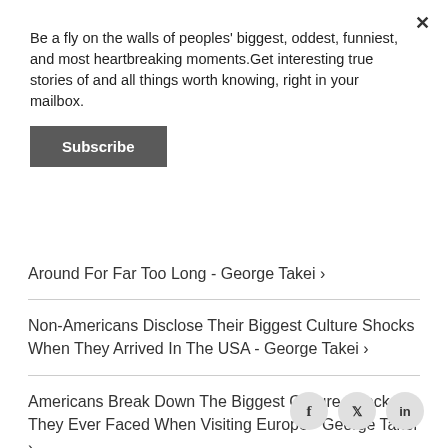Be a fly on the walls of peoples' biggest, oddest, funniest, and most heartbreaking moments.Get interesting true stories of and all things worth knowing, right in your mailbox.
Subscribe
Around For Far Too Long - George Takei ›
Non-Americans Disclose Their Biggest Culture Shocks When They Arrived In The USA - George Takei ›
Americans Break Down The Biggest Culture Shocks They Ever Faced When Visiting Europe - George Takei ›